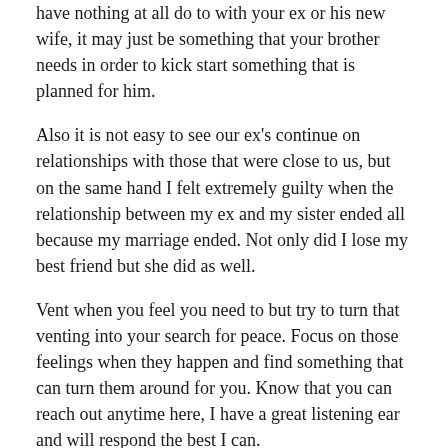have nothing at all do to with your ex or his new wife, it may just be something that your brother needs in order to kick start something that is planned for him.
Also it is not easy to see our ex's continue on relationships with those that were close to us, but on the same hand I felt extremely guilty when the relationship between my ex and my sister ended all because my marriage ended. Not only did I lose my best friend but she did as well.
Vent when you feel you need to but try to turn that venting into your search for peace. Focus on those feelings when they happen and find something that can turn them around for you. Know that you can reach out anytime here, I have a great listening ear and will respond the best I can.
Blessings of peace for you!
Kimberly